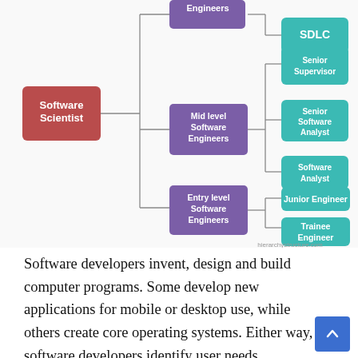[Figure (organizational-chart): Hierarchy chart showing Software Scientist at center left, branching to three purple boxes: (top, partially visible) Engineers, Mid level Software Engineers, Entry level Software Engineers. Each branches further to teal boxes: SDLC, Senior Supervisor, Senior Software Analyst, Software Analyst (from mid level), Junior Engineer, Trainee Engineer (from entry level). Watermark: hierarchystructure.com]
Software developers invent, design and build computer programs. Some develop new applications for mobile or desktop use, while others create core operating systems. Either way, software developers identify user needs,